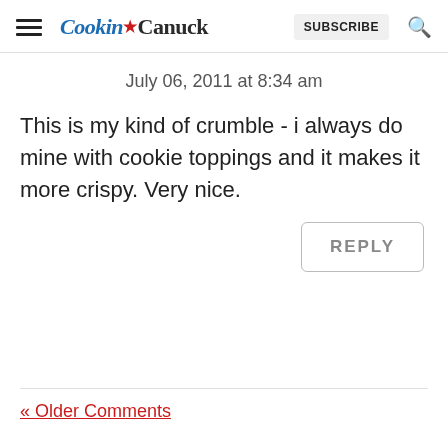Cookin Canuck  SUBSCRIBE
July 06, 2011 at 8:34 am
This is my kind of crumble - i always do mine with cookie toppings and it makes it more crispy. Very nice.
REPLY
« Older Comments